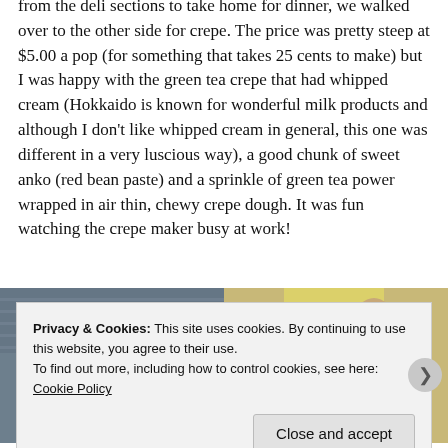from the deli sections to take home for dinner, we walked over to the other side for crepe. The price was pretty steep at $5.00 a pop (for something that takes 25 cents to make) but I was happy with the green tea crepe that had whipped cream (Hokkaido is known for wonderful milk products and although I don't like whipped cream in general, this one was different in a very luscious way), a good chunk of sweet anko (red bean paste) and a sprinkle of green tea power wrapped in air thin, chewy crepe dough. It was fun watching the crepe maker busy at work!
[Figure (photo): Two side-by-side photos: left shows a Japanese market sign with text, right shows a person eating a crepe]
Privacy & Cookies: This site uses cookies. By continuing to use this website, you agree to their use.
To find out more, including how to control cookies, see here: Cookie Policy